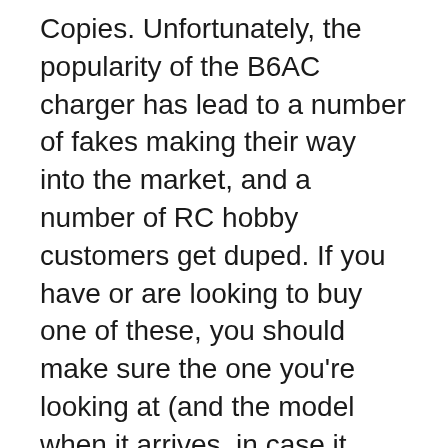Copies. Unfortunately, the popularity of the B6AC charger has lead to a number of fakes making their way into the market, and a number of RC hobby customers get duped. If you have or are looking to buy one of these, you should make sure the one you're looking at (and the model when it arrives, in case it
Les meilleures offres pour B6 AC HOT IMAX 80W RC Lipo Batterie Balance Chargeur Li-po NiMH Battery Chargeur sont sur eBay Comparez les prix et les spécificités des produits neufs et d'occasion Pleins d'articles en livraison gratuite! Seulement 52,28€, acheter le meilleur skyrc imax b6ac v2